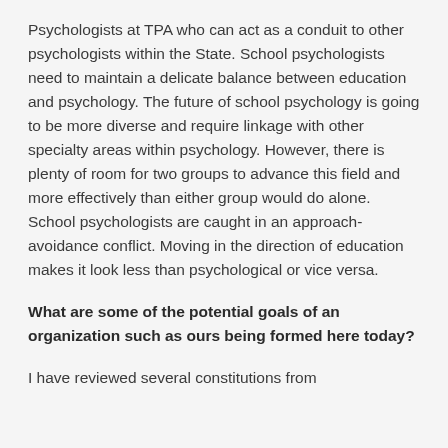Psychologists at TPA who can act as a conduit to other psychologists within the State. School psychologists need to maintain a delicate balance between education and psychology. The future of school psychology is going to be more diverse and require linkage with other specialty areas within psychology. However, there is plenty of room for two groups to advance this field and more effectively than either group would do alone. School psychologists are caught in an approach-avoidance conflict. Moving in the direction of education makes it look less than psychological or vice versa.
What are some of the potential goals of an organization such as ours being formed here today?
I have reviewed several constitutions from